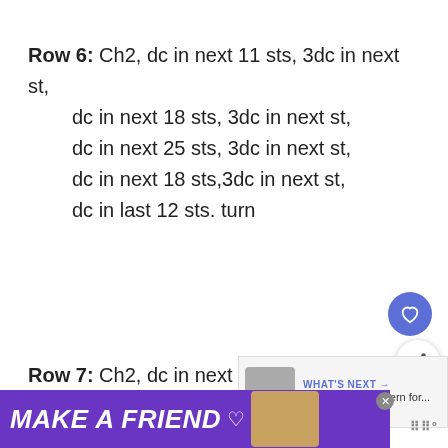Row 6: Ch2, dc in next 11 sts, 3dc in next st, dc in next 18 sts, 3dc in next st, dc in next 25 sts, 3dc in next st, dc in next 18 sts,3dc in next st, dc in last 12 sts. turn
Row 7: Ch2, dc in next 12sts, 3dc in next st, dc in next 20 sts, 3dc in next st, dc in next 2h7 sts, 3dc in next st,